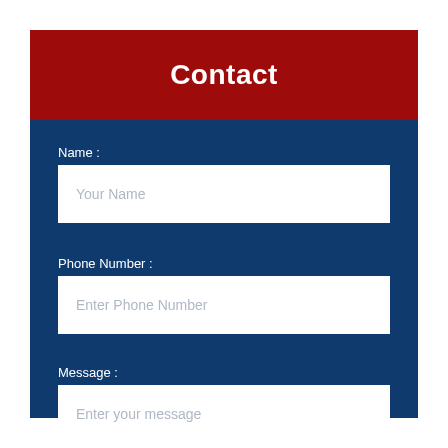Contact
Name :
Your Name
Phone Number :
Enter Phone Number
Message :
Enter your message